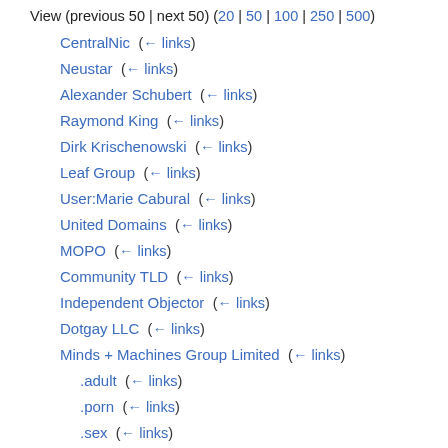View (previous 50 | next 50) (20 | 50 | 100 | 250 | 500)
CentralNic  (← links)
Neustar  (← links)
Alexander Schubert  (← links)
Raymond King  (← links)
Dirk Krischenowski  (← links)
Leaf Group  (← links)
User:Marie Cabural  (← links)
United Domains  (← links)
MOPO  (← links)
Community TLD  (← links)
Independent Objector  (← links)
Dotgay LLC  (← links)
Minds + Machines Group Limited  (← links)
.adult  (← links)
.porn  (← links)
.sex  (← links)
Dot Gay Alliance  (← links)
New gTLD Generic Applications  (← links)